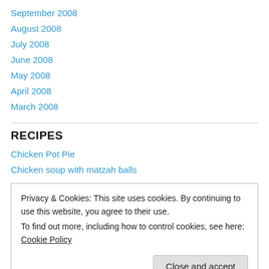September 2008
August 2008
July 2008
June 2008
May 2008
April 2008
March 2008
RECIPES
Chicken Pot Pie
Chicken soup with matzah balls
Privacy & Cookies: This site uses cookies. By continuing to use this website, you agree to their use.
To find out more, including how to control cookies, see here: Cookie Policy
Jambalaya